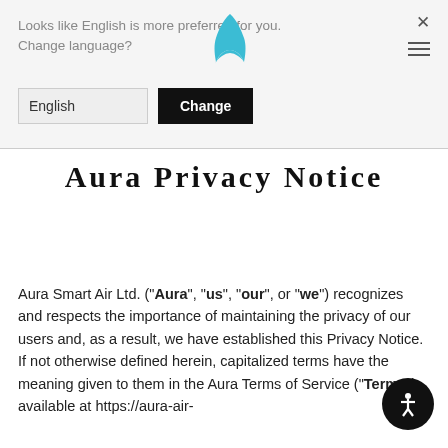Looks like English is more preferred for you. Change language?
English | Change
Aura Privacy Notice
Aura Smart Air Ltd. ("Aura", "us", "our", or "we") recognizes and respects the importance of maintaining the privacy of our users and, as a result, we have established this Privacy Notice. If not otherwise defined herein, capitalized terms have the meaning given to them in the Aura Terms of Service ("Terms") available at https://aura-air-